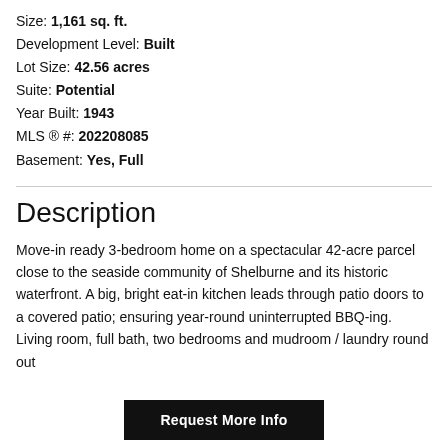Size: 1,161 sq. ft.
Development Level: Built
Lot Size: 42.56 acres
Suite: Potential
Year Built: 1943
MLS ® #: 202208085
Basement: Yes, Full
Description
Move-in ready 3-bedroom home on a spectacular 42-acre parcel close to the seaside community of Shelburne and its historic waterfront. A big, bright eat-in kitchen leads through patio doors to a covered patio; ensuring year-round uninterrupted BBQ-ing. Living room, full bath, two bedrooms and mudroom / laundry round out